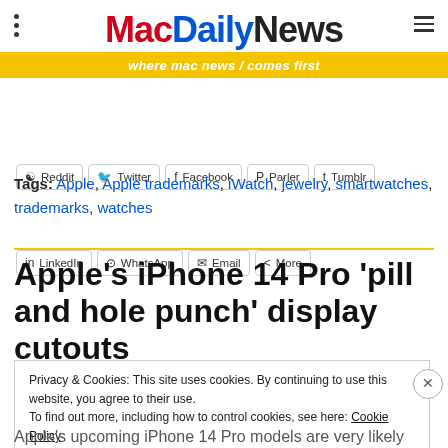MacDailyNews — where mac news comes first
[Figure (screenshot): Social share buttons row 1: Reddit, Twitter, Facebook, Parler, Tumblr]
[Figure (screenshot): Social share buttons row 2: LinkedIn, WhatsApp, Email, More]
Tags: Apple, Apple trademarks, iWatch, jewelry, smartwatches, trademarks, watches
Apple's iPhone 14 Pro 'pill and hole punch' display cutouts
Privacy & Cookies: This site uses cookies. By continuing to use this website, you agree to their use. To find out more, including how to control cookies, see here: Cookie Policy
Apple's upcoming iPhone 14 Pro models are very likely